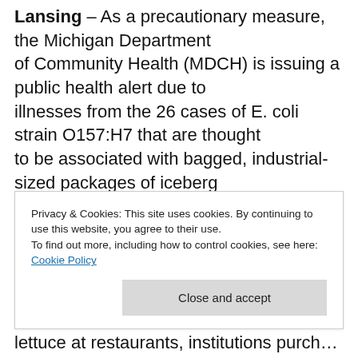Lansing – As a precautionary measure, the Michigan Department of Community Health (MDCH) is issuing a public health alert due to illnesses from the 26 cases of E. coli strain O157:H7 that are thought to be associated with bagged, industrial-sized packages of iceberg lettuce sold through wholesale venues to restaurants and institutions.
There is no evidence that the bagged lettuce at grocery
Privacy & Cookies: This site uses cookies. By continuing to use this website, you agree to their use.
To find out more, including how to control cookies, see here: Cookie Policy
lettuce at grocery institutions purchased from A...